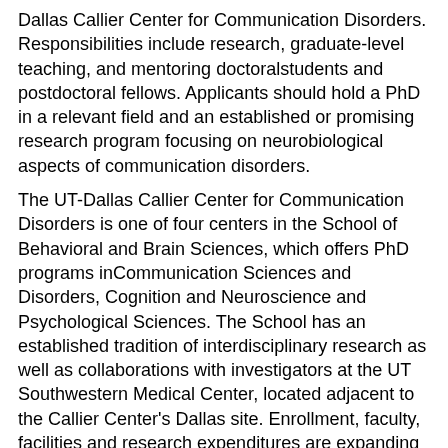Dallas Callier Center for Communication Disorders. Responsibilities include research, graduate-level teaching, and mentoring doctoralstudents and postdoctoral fellows. Applicants should hold a PhD in a relevant field and an established or promising research program focusing on neurobiological aspects of communication disorders.
The UT-Dallas Callier Center for Communication Disorders is one of four centers in the School of Behavioral and Brain Sciences, which offers PhD programs inCommunication Sciences and Disorders, Cognition and Neuroscience and Psychological Sciences. The School has an established tradition of interdisciplinary research as well as collaborations with investigators at the UT Southwestern Medical Center, located adjacent to the Callier Center's Dallas site. Enrollment, faculty, facilities and research expenditures are expanding rapidly at University of Texas at Dallas, which boasts one of the state's most academically talented student bodies.
The University of Texas at Dallas is an Equal Opportunity/Affirmative Action employer. All qualified applicants will receive consideration for employment without regard to race, color, religion, sex, national origin, disability, age,